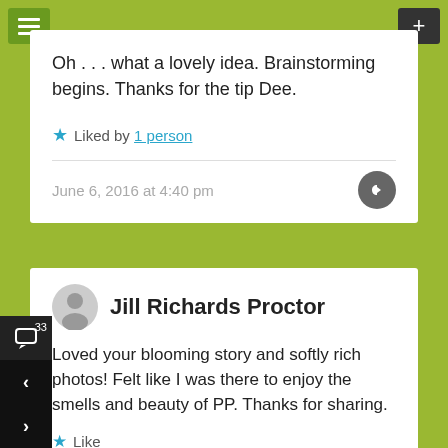Oh . . . what a lovely idea. Brainstorming begins. Thanks for the tip Dee.
Liked by 1 person
June 6, 2016 at 4:40 pm
Jill Richards Proctor
Loved your blooming story and softly rich photos! Felt like I was there to enjoy the smells and beauty of PP. Thanks for sharing.
Like